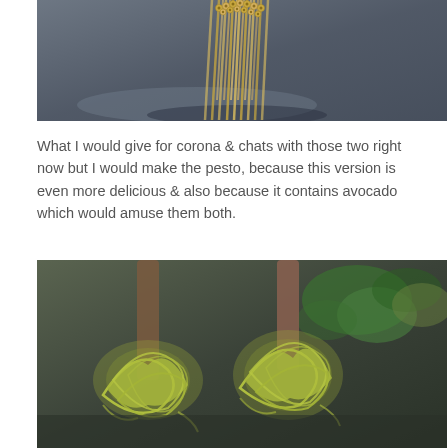[Figure (photo): Close-up photograph of a bundle of dry spaghetti/pasta standing upright on a dark slate surface, showing the hollow tube ends of the pasta from above.]
What I would give for corona & chats with those two right now but I would make the pesto, because this version is even more delicious & also because it contains avocado which would amuse them both.
[Figure (photo): Close-up photograph of two forks twirled with green avocado pesto spaghetti on a dark slate surface, with fresh basil leaves and avocado in the background.]